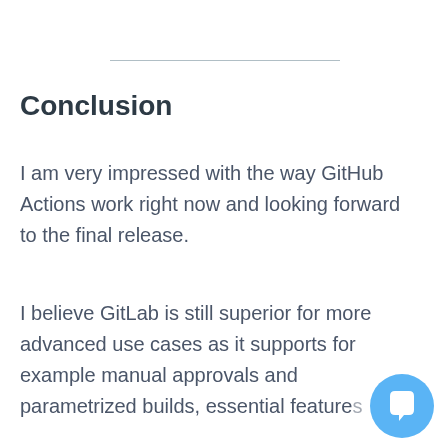Conclusion
I am very impressed with the way GitHub Actions work right now and looking forward to the final release.
I believe GitLab is still superior for more advanced use cases as it supports for example manual approvals and parametrized builds, essential features that
[Figure (illustration): Blue circular chat/message bubble icon in the bottom-right corner of the page]